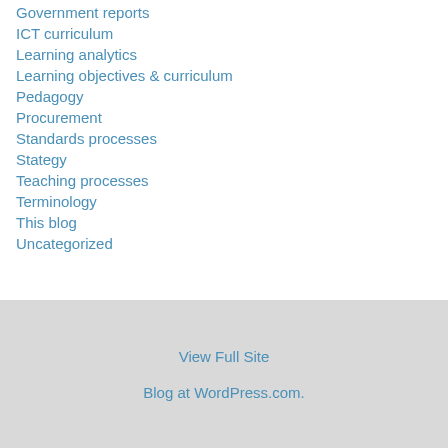Government reports
ICT curriculum
Learning analytics
Learning objectives & curriculum
Pedagogy
Procurement
Standards processes
Stategy
Teaching processes
Terminology
This blog
Uncategorized
View Full Site
Blog at WordPress.com.